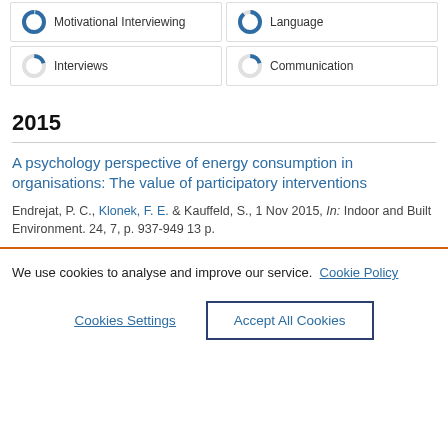[Figure (other): Two topic tag rows with partial donut/circle icons: Motivational Interviewing and Language (top, mostly full), Interviews and Communication (bottom, ~20% fill)]
2015
A psychology perspective of energy consumption in organisations: The value of participatory interventions
Endrejat, P. C., Klonek, F. E. & Kauffeld, S., 1 Nov 2015, In: Indoor and Built Environment. 24, 7, p. 937-949 13 p.
We use cookies to analyse and improve our service. Cookie Policy
Cookies Settings
Accept All Cookies